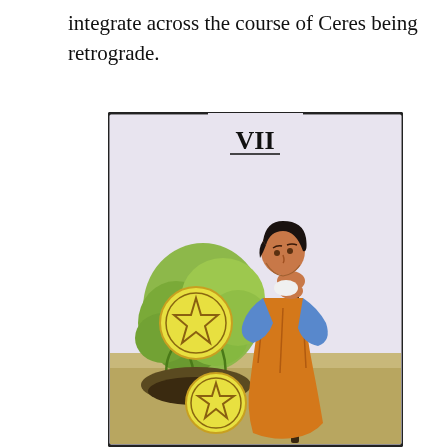integrate across the course of Ceres being retrograde.
[Figure (illustration): Tarot card VII (Seven of Pentacles) showing a figure in orange and blue clothing leaning on a staff, looking down at pentacle coins among foliage on a bush. Two large yellow pentacle coins are visible among green leaves.]